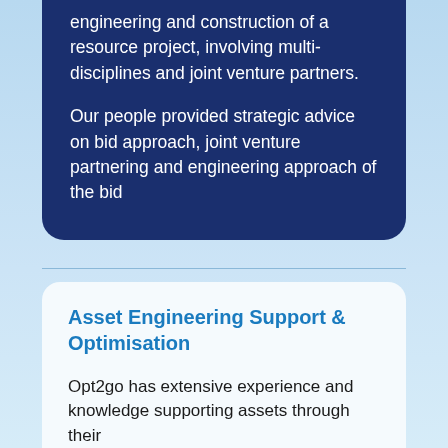engineering and construction of a resource project, involving multi-disciplines and joint venture partners.
Our people provided strategic advice on bid approach, joint venture partnering and engineering approach of the bid
Asset Engineering Support & Optimisation
Opt2go has extensive experience and knowledge supporting assets through their